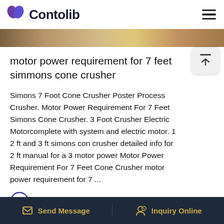Contolib
[Figure (photo): Partial banner image strip showing warm golden/tan tones, appears to be a cropped photo]
motor power requirement for 7 feet simmons cone crusher
Simons 7 Foot Cone Crusher Poster Process Crusher. Motor Power Requirement For 7 Feet Simons Cone Crusher. 3 Foot Crusher Electric Motorcomplete with system and electric motor. 1 2 ft and 3 ft simons cone crusher detailed info for 2 ft manual for a 3 motor power Motor Power Requirement For 7 Feet Cone Crusher motor power requirement for 7 ...
[Figure (photo): Partial image strip showing blue sky, bottom portion of page]
Send Message | Inquiry Online